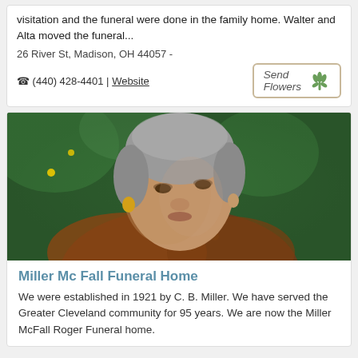visitation and the funeral were done in the family home. Walter and Alta moved the funeral...
26 River St, Madison, OH 44057 -
☎ (440) 428-4401 | Website
[Figure (photo): Portrait photo of an elderly woman with grey hair and gold earrings, looking downward, with a green background suggesting holiday decorations]
Miller Mc Fall Funeral Home
We were established in 1921 by C. B. Miller. We have served the Greater Cleveland community for 95 years. We are now the Miller McFall Roger Funeral home.